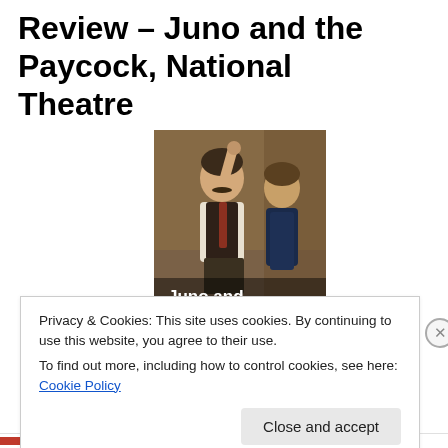Review – Juno and the Paycock, National Theatre
[Figure (photo): Promotional photo from the National Theatre production of 'Juno and the Paycock', showing two actors — a man holding something aloft and a woman beside him. Text 'Juno and the Paycock' overlaid at the bottom of the image.]
Privacy & Cookies: This site uses cookies. By continuing to use this website, you agree to their use.
To find out more, including how to control cookies, see here: Cookie Policy
Close and accept